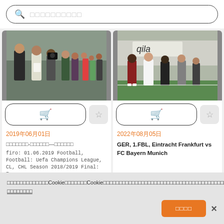[Figure (screenshot): Search bar with magnifying glass icon and placeholder text in CJK characters]
[Figure (photo): People shaking hands or talking at a sporting event, outdoor setting]
[Figure (photo): People standing on a sports field, with advertising banners including 'qila' visible]
2019年06月01日
2022年08月05日
□□□□□□□-□□□□□□—□□□□□□
GER, 1.FBL, Eintracht Frankfurt vs FC Bayern Munich
firo: 01.06.2019 Football, Football: Uefa Champions League, CL, CHL Season 2018/2019 Final: Fran...
我们使用自己的和第三方的Cookie来提供我们的服务。Cookie帮助我们了解您如何与我们的网站互动，改进我们的服务，以及根据您的兴趣为您提供相关广告。继续使用意味着您同意我们对Cookie的使用和我们的数据保护方针。 了解更多信息
全部接受